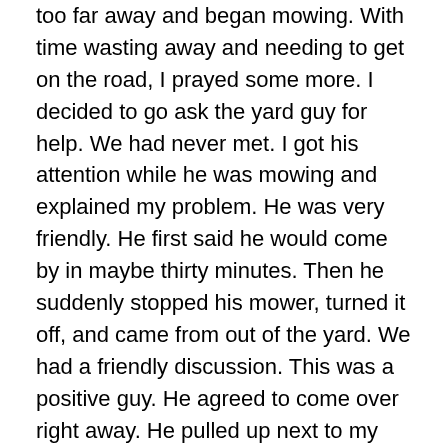too far away and began mowing. With time wasting away and needing to get on the road, I prayed some more. I decided to go ask the yard guy for help. We had never met. I got his attention while he was mowing and explained my problem. He was very friendly. He first said he would come by in maybe thirty minutes. Then he suddenly stopped his mower, turned it off, and came from out of the yard. We had a friendly discussion. This was a positive guy. He agreed to come over right away. He pulled up next to my car, we hooked up my cables, and my car started right up. He noticed the bad terminal. We said our goodbyes. I thanked him profusely. He refused to take any money. I knew he wouldn't but thought it was the right thing to do to at least offer.
I called my garage. They had no time. Were very busy. They were two weeks out. I explained the situation. He